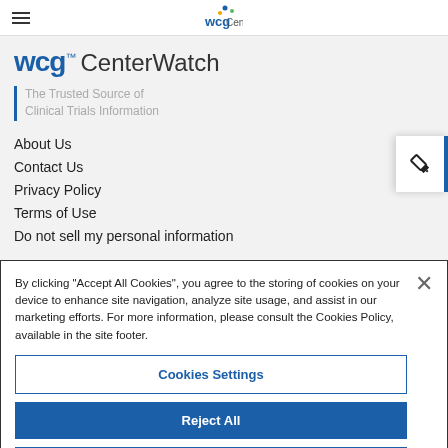wcg CenterWatch — navigation bar with hamburger menu and logo
wcg™ CenterWatch
The Trusted Source of Clinical Trials Information
About Us
Contact Us
Privacy Policy
Terms of Use
Do not sell my personal information
By clicking "Accept All Cookies", you agree to the storing of cookies on your device to enhance site navigation, analyze site usage, and assist in our marketing efforts. For more information, please consult the Cookies Policy, available in the site footer.
Cookies Settings
Reject All
Accept All Cookies